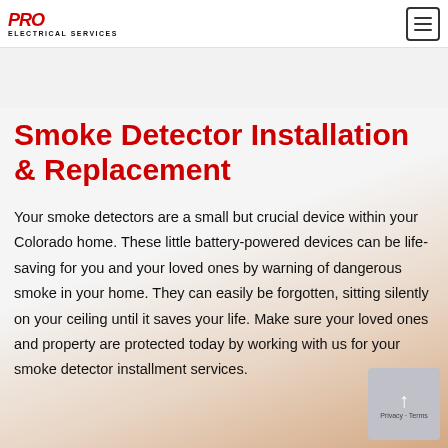PRO ELECTRICAL SERVICES [logo] | [menu button]
Smoke Detector Installation & Replacement
Your smoke detectors are a small but crucial device within your Colorado home. These little battery-powered devices can be life-saving for you and your loved ones by warning of dangerous smoke in your home. They can easily be forgotten, sitting silently on your ceiling until it saves your life. Make sure your loved ones and property are protected today by working with us for your smoke detector installment services.